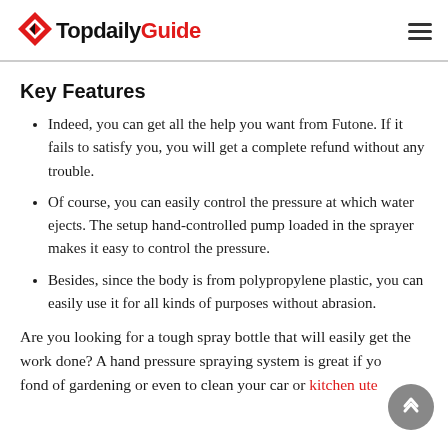TopdailyGuide
Key Features
Indeed, you can get all the help you want from Futone. If it fails to satisfy you, you will get a complete refund without any trouble.
Of course, you can easily control the pressure at which water ejects. The setup hand-controlled pump loaded in the sprayer makes it easy to control the pressure.
Besides, since the body is from polypropylene plastic, you can easily use it for all kinds of purposes without abrasion.
Are you looking for a tough spray bottle that will easily get the work done? A hand pressure spraying system is great if you are fond of gardening or even to clean your car or kitchen ute…